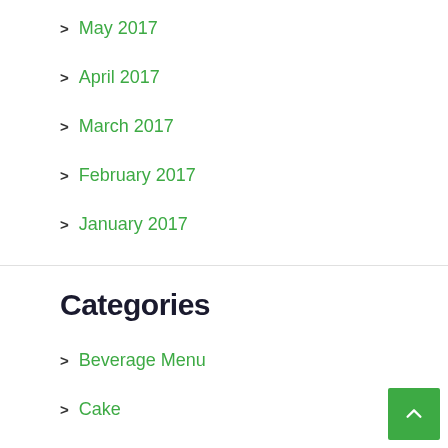> May 2017
> April 2017
> March 2017
> February 2017
> January 2017
Categories
> Beverage Menu
> Cake